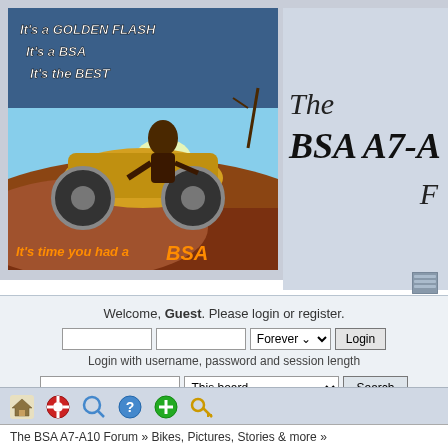[Figure (illustration): Vintage BSA motorcycle advertisement poster showing a man riding a BSA Golden Flash motorcycle. Text on poster: 'It's a GOLDEN FLASH', 'It's a BSA', 'It's the BEST', 'It's time you had a BSA']
The BSA A7-A F
[Figure (screenshot): Small icon/button in top right area of header]
Welcome, Guest. Please login or register.
Login with username, password and session length
The BSA A7-A10 Forum » Bikes, Pictures, Stories & more »